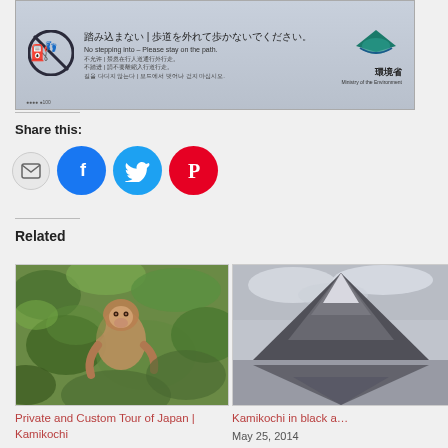[Figure (photo): Japanese Ministry of Environment sign in multiple languages saying 'No stepping into – Please stay on the path.' with a no-footprints icon and the Ministry of the Environment logo.]
Share this:
[Figure (infographic): Social share buttons: email (envelope), Facebook (blue circle), Twitter (light blue circle), Pinterest (red circle)]
Related
[Figure (photo): Photo of a Japanese macaque (monkey) among green leaves]
Private and Custom Tour of Japan | Kamikochi
[Figure (photo): Black and white photo of a mountain reflected in water]
Kamikochi in black a…
May 25, 2014